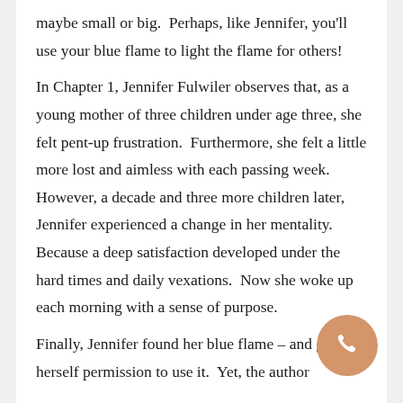maybe small or big.  Perhaps, like Jennifer, you'll use your blue flame to light the flame for others!
In Chapter 1, Jennifer Fulwiler observes that, as a young mother of three children under age three, she felt pent-up frustration.  Furthermore, she felt a little more lost and aimless with each passing week.  However, a decade and three more children later, Jennifer experienced a change in her mentality.  Because a deep satisfaction developed under the hard times and daily vexations.  Now she woke up each morning with a sense of purpose.
Finally, Jennifer found her blue flame – and gave herself permission to use it.  Yet, the author
[Figure (other): A circular orange/tan phone call button with a white telephone handset icon, positioned in the bottom-right corner.]